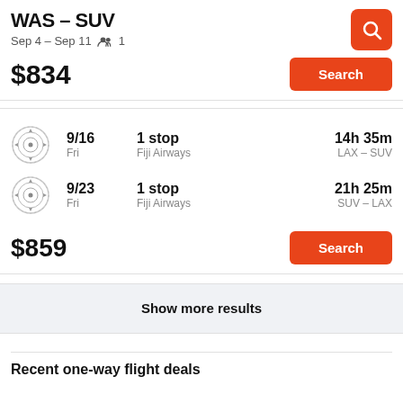WAS – SUV
Sep 4 – Sep 11   1
$834  Search
9/16  Fri  1 stop  Fiji Airways  14h 35m  LAX – SUV
9/23  Fri  1 stop  Fiji Airways  21h 25m  SUV – LAX
$859  Search
Show more results
Recent one-way flight deals